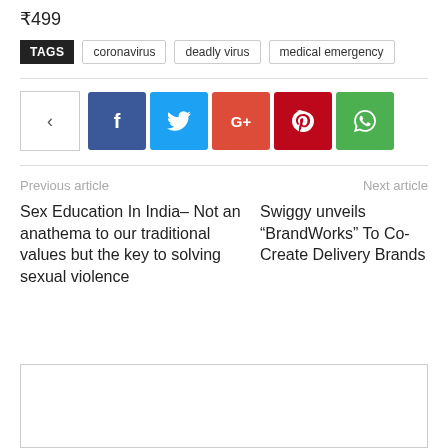₹499
TAGS  coronavirus  deadly virus  medical emergency
[Figure (infographic): Social share buttons: share icon box, Facebook, Twitter, Google+, Pinterest, WhatsApp]
Previous article
Next article
Sex Education In India– Not an anathema to our traditional values but the key to solving sexual violence
Swiggy unveils "BrandWorks" To Co-Create Delivery Brands